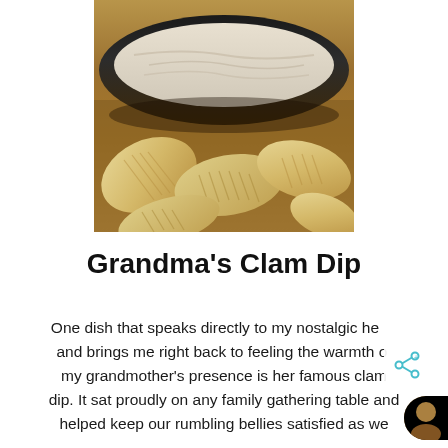[Figure (photo): Close-up photo of a dark bowl containing creamy clam dip surrounded by ridged potato chips on a brown surface]
Grandma's Clam Dip
One dish that speaks directly to my nostalgic heart and brings me right back to feeling the warmth of my grandmother's presence is her famous clam dip. It sat proudly on any family gathering table and helped keep our rumbling bellies satisfied as we